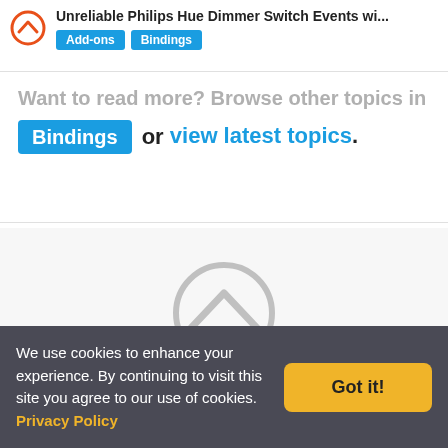Unreliable Philips Hue Dimmer Switch Events wi...
Want to read more? Browse other topics in Bindings or view latest topics.
[Figure (logo): openHAB logo - circle with chevron, large gray watermark in footer area]
Copyright © 2021 by the openHAB Community and the openHAB Foundation e.V. Privacy policy | Imprint
[Figure (illustration): Social media icons row: Twitter bird, email/newsletter envelope, YouTube play button]
We use cookies to enhance your experience. By continuing to visit this site you agree to our use of cookies. Privacy Policy